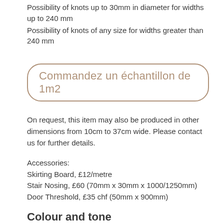Possibility of knots up to 30mm in diameter for widths up to 240 mm
Possibility of knots of any size for widths greater than 240 mm
[Figure (other): Button/CTA element with rounded border: Commandez un échantillon de 1m2]
On request, this item may also be produced in other dimensions from 10cm to 37cm wide. Please contact us for further details.
Accessories:
Skirting Board, £12/metre
Stair Nosing, £60 (70mm x 30mm x 1000/1250mm)
Door Threshold, £35 chf (50mm x 900mm)
Colour and tone
This stunning floor combines subtle beige tones with light hints of olive.